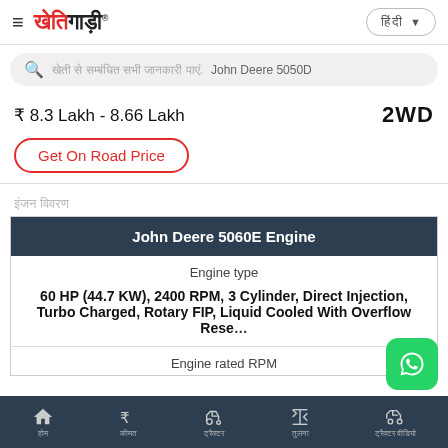खेतिगाड़ी
खेती से सम्बंधित सभी जानकारी पाएं. John Deere 5050D
₹ 8.3 Lakh - 8.66 Lakh  2WD
Get On Road Price
इंजन विवरण
| John Deere 5060E Engine |
| --- |
| Engine type |
| 60 HP (44.7 KW), 2400 RPM, 3 Cylinder, Direct Injection, Turbo Charged, Rotary FIP, Liquid Cooled With Overflow Reservoir |
| Engine rated RPM |
Home  कीमत  ट्रैक्टर  तुलना  ट्रैक्टर वीडियो